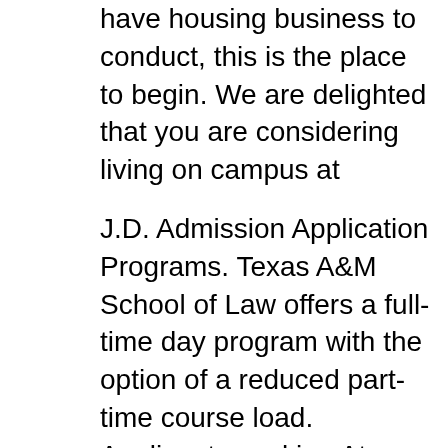have housing business to conduct, this is the place to begin. We are delighted that you are considering living on campus at
J.D. Admission Application Programs. Texas A&M School of Law offers a full-time day program with the option of a reduced part-time course load. Applicants seeking At Texas A&M University-Commerce, Apply today online, or call us at (903) 886-5000 for undergraduate admissions; (903) 886-5163 for graduate admissions.
The University Honors Program at Texas A&M University is one of the most comprehensive of its type anywhere in the United States. For more on Texas